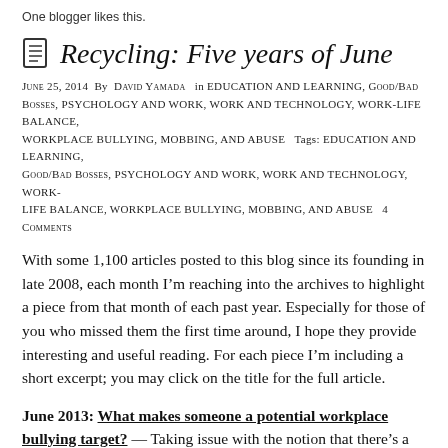One blogger likes this.
Recycling: Five years of June
June 25, 2014  By David Yamada  in EDUCATION AND LEARNING, GOOD/BAD BOSSES, PSYCHOLOGY AND WORK, WORK AND TECHNOLOGY, WORK-LIFE BALANCE, WORKPLACE BULLYING, MOBBING, AND ABUSE  Tags: EDUCATION AND LEARNING, GOOD/BAD BOSSES, PSYCHOLOGY AND WORK, WORK AND TECHNOLOGY, WORK-LIFE BALANCE, WORKPLACE BULLYING, MOBBING, AND ABUSE  4 Comments
With some 1,100 articles posted to this blog since its founding in late 2008, each month I’m reaching into the archives to highlight a piece from that month of each past year. Especially for those of you who missed them the first time around, I hope they provide interesting and useful reading. For each piece I’m including a short excerpt; you may click on the title for the full article.
June 2013: What makes someone a potential workplace bullying target? — Taking issue with the notion that there’s a prototypical bullying target.
It’s true that some bullying targets may project a vulnerability that attracts aggressors like moths to a flame. (Or, perhaps “sharks to